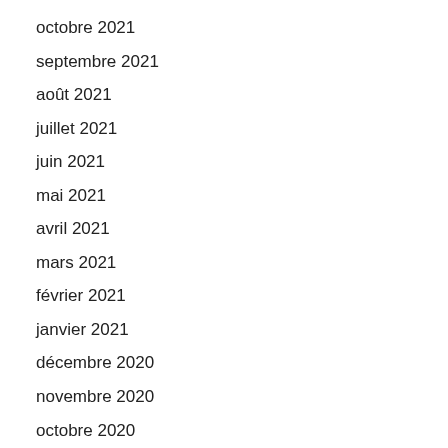octobre 2021
septembre 2021
août 2021
juillet 2021
juin 2021
mai 2021
avril 2021
mars 2021
février 2021
janvier 2021
décembre 2020
novembre 2020
octobre 2020